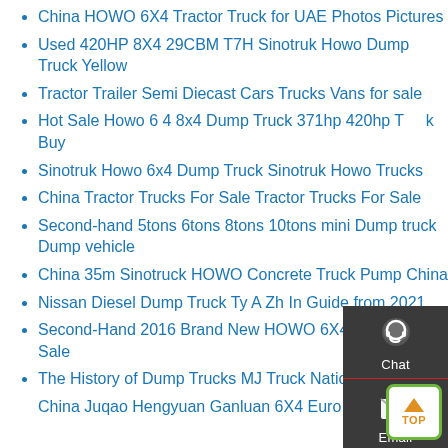China HOWO 6X4 Tractor Truck for UAE Photos Pictures
Used 420HP 8X4 29CBM T7H Sinotruk Howo Dump Truck Yellow
Tractor Trailer Semi Diecast Cars Trucks Vans for sale
Hot Sale Howo 6 4 8x4 Dump Truck 371hp 420hp T...k Buy
Sinotruk Howo 6x4 Dump Truck Sinotruk Howo Trucks
China Tractor Trucks For Sale Tractor Trucks For Sale
Second-hand 5tons 6tons 8tons 10tons mini Dump truck Dump vehicle
China 35m Sinotruck HOWO Concrete Truck Pump China
Nissan Diesel Dump Truck Ty A Zh In Guide from 2021
Second-Hand 2016 Brand New HOWO 6X4 Tractor Truck Sale
The History of Dump Trucks MJ Truck Nation
China Juqao Hengyuan Ganluan 6X4 Euro 5 Tractor…